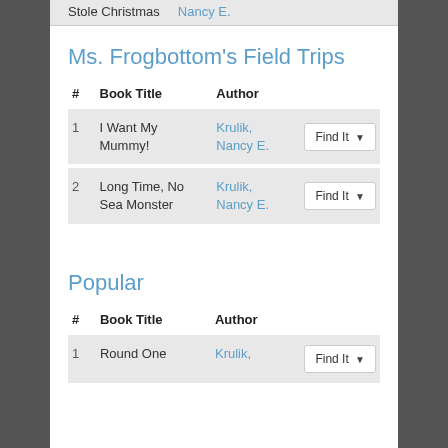Stole Christmas   Nancy E.
Ms. Frogbottom's Field Trips
| # | Book Title | Author |
| --- | --- | --- |
| 1 | I Want My Mummy! | Krulik, Nancy E. |
| 2 | Long Time, No Sea Monster | Krulik, Nancy E. |
Popular
| # | Book Title | Author |
| --- | --- | --- |
| 1 | Round One | Krulik, |